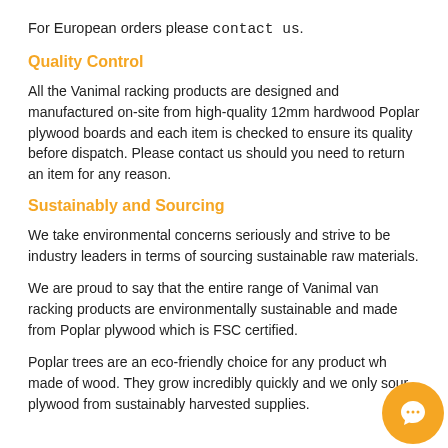For European orders please contact us.
Quality Control
All the Vanimal racking products are designed and manufactured on-site from high-quality 12mm hardwood Poplar plywood boards and each item is checked to ensure its quality before dispatch. Please contact us should you need to return an item for any reason.
Sustainably and Sourcing
We take environmental concerns seriously and strive to be industry leaders in terms of sourcing sustainable raw materials.
We are proud to say that the entire range of Vanimal van racking products are environmentally sustainable and made from Poplar plywood which is FSC certified.
Poplar trees are an eco-friendly choice for any product wh... made of wood. They grow incredibly quickly and we only s... our plywood from sustainably harvested supplies.
[Figure (illustration): Orange circular chat/support button icon in bottom-right corner]